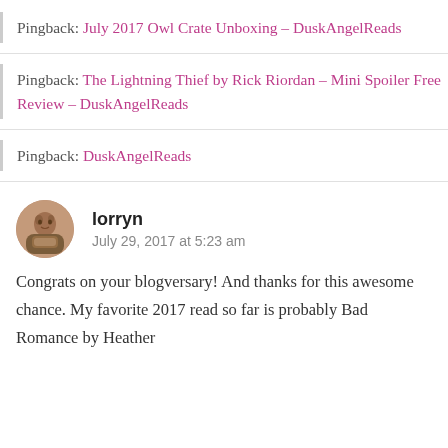Pingback: July 2017 Owl Crate Unboxing – DuskAngelReads
Pingback: The Lightning Thief by Rick Riordan – Mini Spoiler Free Review – DuskAngelReads
Pingback: DuskAngelReads
lorryn
July 29, 2017 at 5:23 am
Congrats on your blogversary! And thanks for this awesome chance. My favorite 2017 read so far is probably Bad Romance by Heather